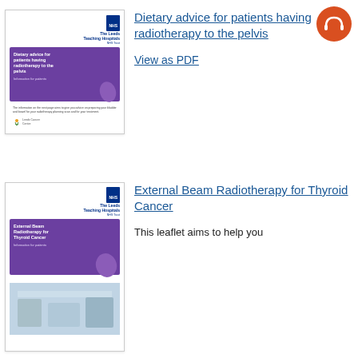[Figure (illustration): Audio/accessibility icon — orange circle with white headphones symbol, top right corner]
[Figure (illustration): Thumbnail image of NHS Leeds Teaching Hospitals leaflet cover: 'Dietary advice for patients having radiotherapy to the pelvis — Information for patients', with purple banner, decorative leaf, Leeds Cancer Centre logo]
Dietary advice for patients having radiotherapy to the pelvis
View as PDF
[Figure (illustration): Thumbnail image of NHS Leeds Teaching Hospitals leaflet cover: 'External Beam Radiotherapy for Thyroid Cancer — Information for patients', with purple banner and photo of medical facility]
External Beam Radiotherapy for Thyroid Cancer
This leaflet aims to help you